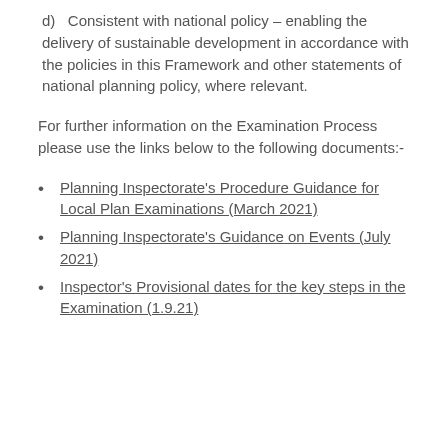d)   Consistent with national policy – enabling the delivery of sustainable development in accordance with the policies in this Framework and other statements of national planning policy, where relevant.
For further information on the Examination Process please use the links below to the following documents:-
Planning Inspectorate's Procedure Guidance for Local Plan Examinations (March 2021)
Planning Inspectorate's Guidance on Events (July 2021)
Inspector's Provisional dates for the key steps in the Examination (1.9.21)